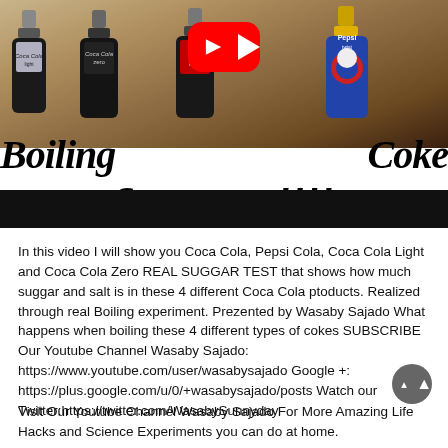[Figure (screenshot): YouTube video thumbnail showing Coca Cola Light, Coca Cola Zero, Coca Cola, and Pepsi bottles with YouTube play button overlay. Text reads 'Boiling Coke Sugar test !!!!' in bold italic font. A black bar spans the bottom of the thumbnail area.]
In this video I will show you Coca Cola, Pepsi Cola, Coca Cola Light and Coca Cola Zero REAL SUGGAR TEST that shows how much suggar and salt is in these 4 different Coca Cola ptoducts. Realized through real Boiling experiment. Prezented by Wasaby Sajado What happens when boiling these 4 different types of cokes SUBSCRIBE Our Youtube Channel Wasaby Sajado: https://www.youtube.com/user/wasabysajado Google +: https://plus.google.com/u/0/+wasabysajado/posts Watch our Twitter:https://twitter.com/WasabySunnyday
Visit Our Youtube Channel Wasaby Sajado For More Amazing Life Hacks and Science Experiments you can do at home.